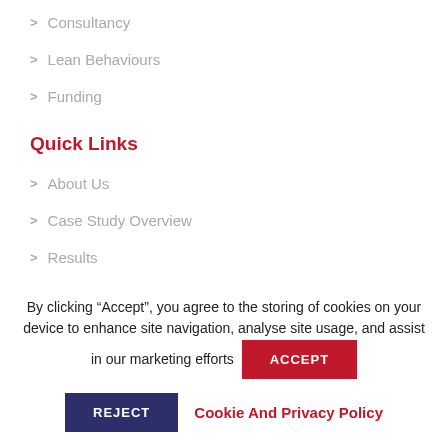> Consultancy
> Lean Behaviours
> Funding
Quick Links
> About Us
> Case Study Overview
> Results
By clicking “Accept”, you agree to the storing of cookies on your device to enhance site navigation, analyse site usage, and assist in our marketing efforts
ACCEPT
REJECT
Cookie And Privacy Policy